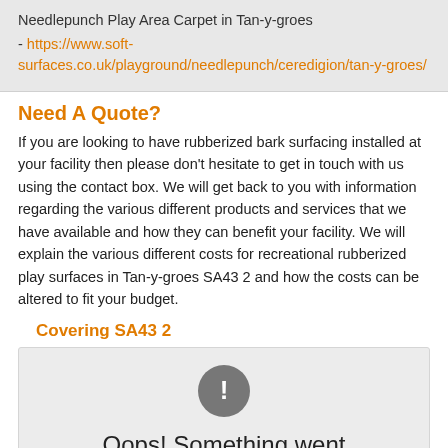Needlepunch Play Area Carpet in Tan-y-groes
- https://www.soft-surfaces.co.uk/playground/needlepunch/ceredigion/tan-y-groes/
Need A Quote?
If you are looking to have rubberized bark surfacing installed at your facility then please don't hesitate to get in touch with us using the contact box. We will get back to you with information regarding the various different products and services that we have available and how they can benefit your facility. We will explain the various different costs for recreational rubberized play surfaces in Tan-y-groes SA43 2 and how the costs can be altered to fit your budget.
Covering SA43 2
[Figure (other): Error placeholder image showing a grey circle with exclamation mark and text 'Oops! Something went wrong']